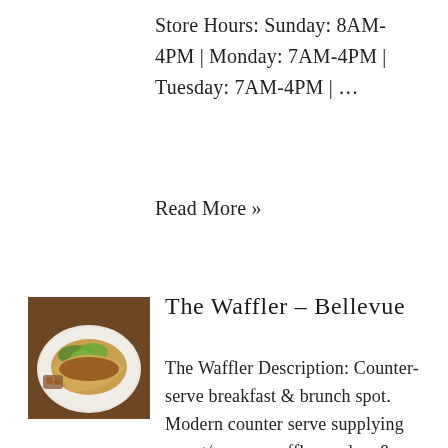Store Hours: Sunday: 8AM-4PM | Monday: 7AM-4PM | Tuesday: 7AM-4PM | …
Read More »
[Figure (photo): A plate of food (appears to be a taco or sandwich) with vegetables and sides on a white plate against a dark wooden background]
The Waffler – Bellevue
The Waffler Description: Counter-serve breakfast & brunch spot. Modern counter serve supplying sweet/savory waffle combos & sandwiches for